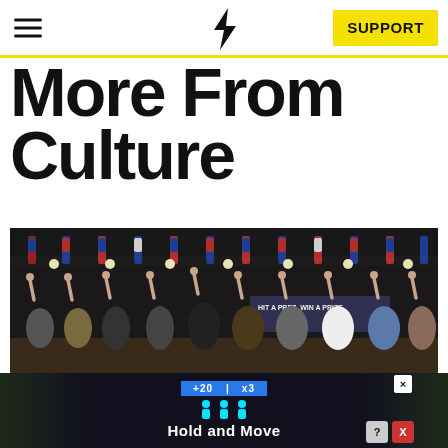More From Culture
More From Culture
[Figure (photo): A group of people on a stage with dark curtain backdrop, arms raised with fingers pointing up, colorful decorations hanging above, banner in background reading 'HIT A PREZ, WIN A PRIZE']
[Figure (screenshot): Advertisement overlay showing 'Hold and Move' text with blue bar, person silhouette icons in cyan, and close/question mark buttons in corner]